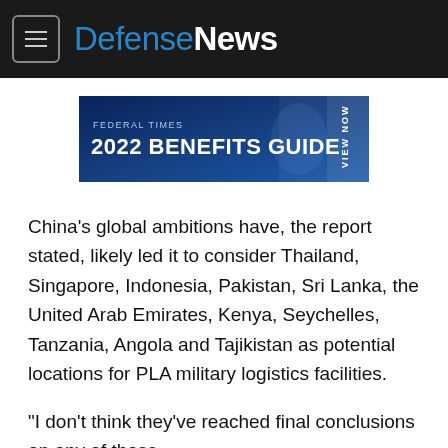DefenseNews
[Figure (other): Federal Times 2022 Benefits Guide advertisement banner with blue background and VIEW NOW call to action]
China’s global ambitions have, the report stated, likely led it to consider Thailand, Singapore, Indonesia, Pakistan, Sri Lanka, the United Arab Emirates, Kenya, Seychelles, Tanzania, Angola and Tajikistan as potential locations for PLA military logistics facilities.
“I don’t think they’ve reached final conclusions on any of those